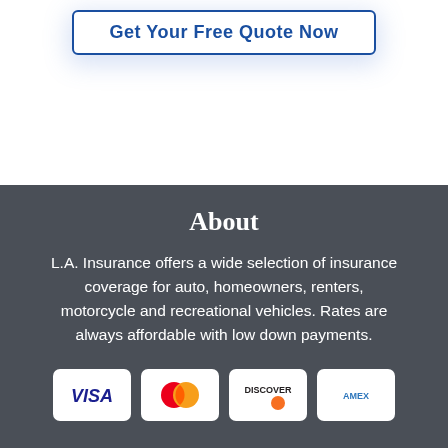[Figure (other): Call-to-action button with text 'Get Your Free Quote Now' styled with blue border and shadow]
About
L.A. Insurance offers a wide selection of insurance coverage for auto, homeowners, renters, motorcycle and recreational vehicles. Rates are always affordable with low down payments.
[Figure (other): Payment method icons: Visa, Mastercard, Discover, and American Express credit card logos]